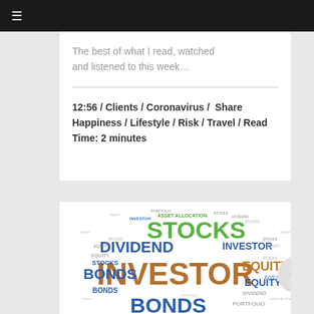≡
The best of what I read, watched and listened to this week…
12:56 / Clients / Coronavirus /  Share Happiness / Lifestyle / Risk / Travel / Read Time: 2 minutes
[Figure (illustration): Word cloud with investor-related financial terms including INVESTOR (large, brown), STOCKS (large, green), DIVIDEND (large, blue), BONDS (large, blue), EQUITY (medium, brown/blue), ASSET ALLOCATION (small, green), PORTFOLIO, and other smaller financial terms in various colors.]